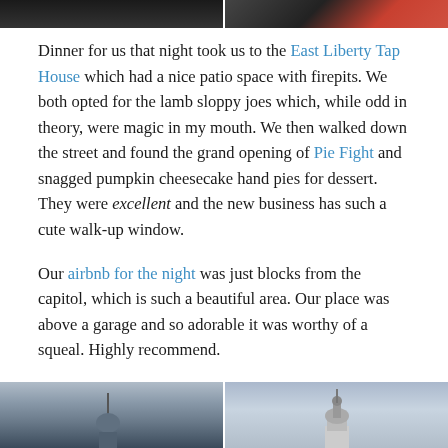[Figure (photo): Two cropped photos side by side at top of page — left is dark/shadowed, right shows colorful content]
Dinner for us that night took us to the East Liberty Tap House which had a nice patio space with firepits. We both opted for the lamb sloppy joes which, while odd in theory, were magic in my mouth. We then walked down the street and found the grand opening of Pie Fight and snagged pumpkin cheesecake hand pies for dessert. They were excellent and the new business has such a cute walk-up window.
Our airbnb for the night was just blocks from the capitol, which is such a beautiful area. Our place was above a garage and so adorable it was worthy of a squeal. Highly recommend.
[Figure (photo): Two photos side by side at bottom — left shows a dome/building silhouette against sky, right shows a capitol building dome against blue sky with clouds]